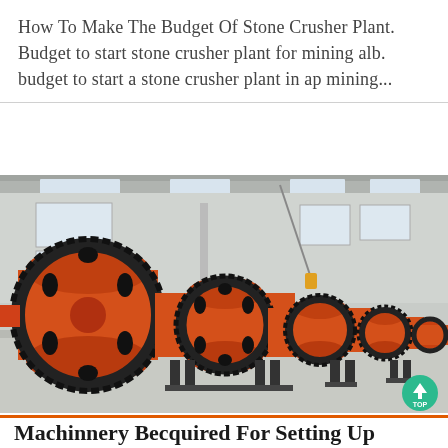How To Make The Budget Of Stone Crusher Plant. Budget to start stone crusher plant for mining alb. budget to start a stone crusher plant in ap mining...
[Figure (photo): Industrial factory floor showing a row of large orange cylindrical ball mills with large gear wheels, lined up in a spacious warehouse with steel frame and skylights. Workers visible in background.]
Machinnery Becquired For Setting Up